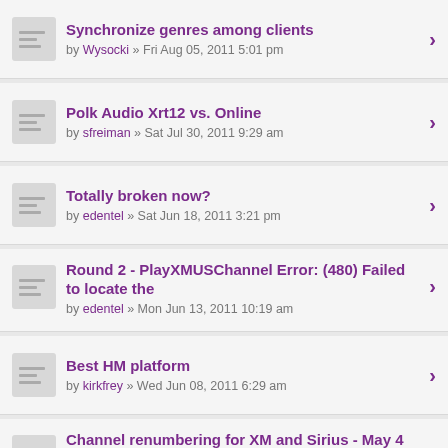Synchronize genres among clients
by Wysocki » Fri Aug 05, 2011 5:01 pm
Polk Audio Xrt12 vs. Online
by sfreiman » Sat Jul 30, 2011 9:29 am
Totally broken now?
by edentel » Sat Jun 18, 2011 3:21 pm
Round 2 - PlayXMUSChannel Error: (480) Failed to locate the
by edentel » Mon Jun 13, 2011 10:19 am
Best HM platform
by kirkfrey » Wed Jun 08, 2011 6:29 am
Channel renumbering for XM and Sirius - May 4 2011